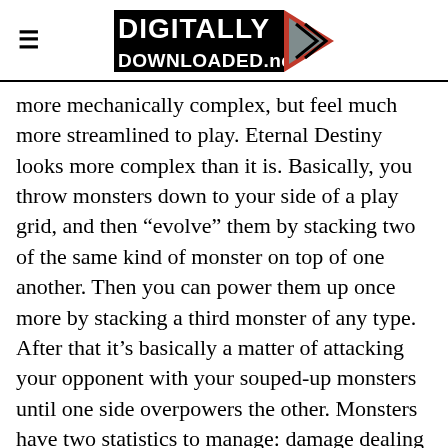DIGITALLY DOWNLOADED.net
more mechanically complex, but feel much more streamlined to play. Eternal Destiny looks more complex than it is. Basically, you throw monsters down to your side of a play grid, and then “evolve” them by stacking two of the same kind of monster on top of one another. Then you can power them up once more by stacking a third monster of any type. After that it’s basically a matter of attacking your opponent with your souped-up monsters until one side overpowers the other. Monsters have two statistics to manage: damage dealing ability, and health, and from there it’s a pretty simple mathematical equation to figure out how much damage a monster will take from an attack. There are some additional abilities to take into account (strengths, weaknesses, and some monsters have special abilities that are worth using rather than having them attack on their turn), but Eternal Destiny has nowhere nea